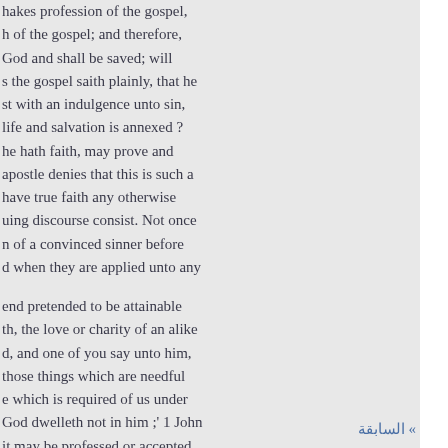hakes profession of the gospel, h of the gospel; and therefore, God and shall be saved; will s the gospel saith plainly, that he st with an indulgence unto sin, life and salvation is annexed ? he hath faith, may prove and apostle denies that this is such a have true faith any otherwise uing discourse consist. Not once n of a convinced sinner before d when they are applied unto any
end pretended to be attainable th, the love or charity of an alike d, and one of you say unto him, those things which are needful e which is required of us under God dwelleth not in him ;' 1 John it may be professed or accepted ofitable. Hence the apostle
» السابقة